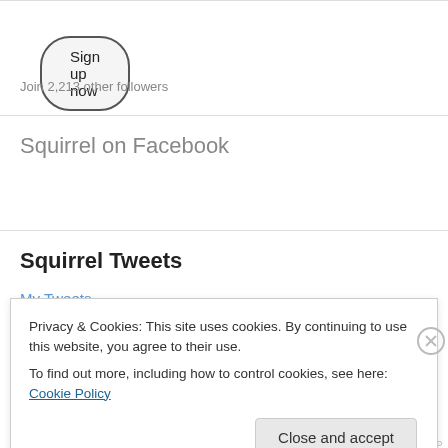Sign up now
Join 2,213 other followers
Squirrel on Facebook
Squirrel Tweets
My Tweets
Privacy & Cookies: This site uses cookies. By continuing to use this website, you agree to their use.
To find out more, including how to control cookies, see here: Cookie Policy
Close and accept